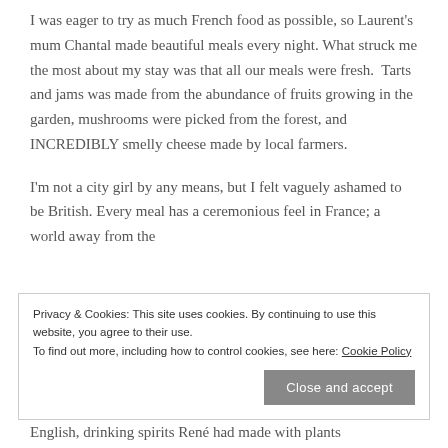I was eager to try as much French food as possible, so Laurent's mum Chantal made beautiful meals every night. What struck me the most about my stay was that all our meals were fresh.  Tarts and jams was made from the abundance of fruits growing in the garden, mushrooms were picked from the forest, and INCREDIBLY smelly cheese made by local farmers.
I'm not a city girl by any means, but I felt vaguely ashamed to be British. Every meal has a ceremonious feel in France; a world away from the
Privacy & Cookies: This site uses cookies. By continuing to use this website, you agree to their use.
To find out more, including how to control cookies, see here: Cookie Policy
[Close and accept]
English, drinking spirits René had made with plants